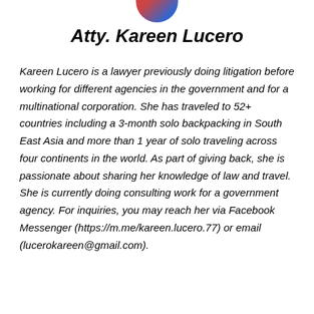[Figure (photo): Circular profile photo of Atty. Kareen Lucero, partially cropped at top of page]
Atty. Kareen Lucero
Kareen Lucero is a lawyer previously doing litigation before working for different agencies in the government and for a multinational corporation. She has traveled to 52+ countries including a 3-month solo backpacking in South East Asia and more than 1 year of solo traveling across four continents in the world. As part of giving back, she is passionate about sharing her knowledge of law and travel. She is currently doing consulting work for a government agency. For inquiries, you may reach her via Facebook Messenger (https://m.me/kareen.lucero.77) or email (lucerokareen@gmail.com).